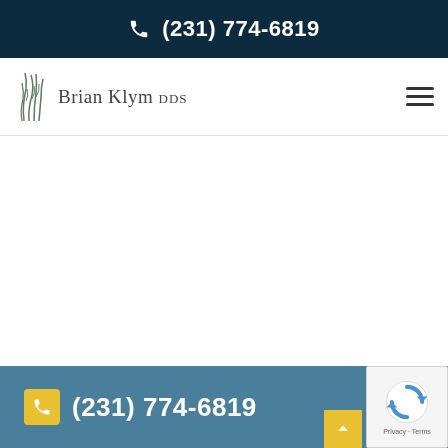(231) 774-6819
[Figure (logo): Brian Klym DDS logo with grass illustration and text]
(231) 774-6819